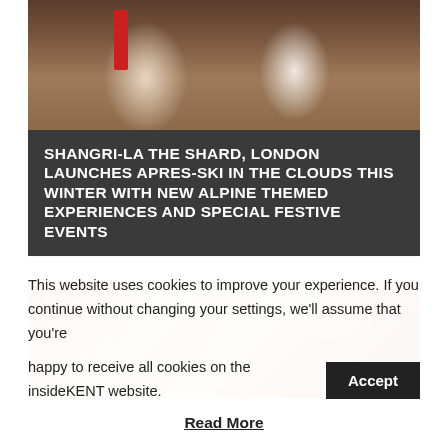[Figure (photo): Winter alpine scene with two people in white coats and red accessories against a wooden wall background with snow-themed decorations]
SHANGRI-LA THE SHARD, LONDON LAUNCHES APRES-SKI IN THE CLOUDS THIS WINTER WITH NEW ALPINE THEMED EXPERIENCES AND SPECIAL FESTIVE EVENTS
[Figure (photo): Blurred festive bokeh scene with warm orange, red and cream tones suggesting a Christmas market or decorated interior]
This website uses cookies to improve your experience. If you continue without changing your settings, we'll assume that you're happy to receive all cookies on the insideKENT website.
Read More